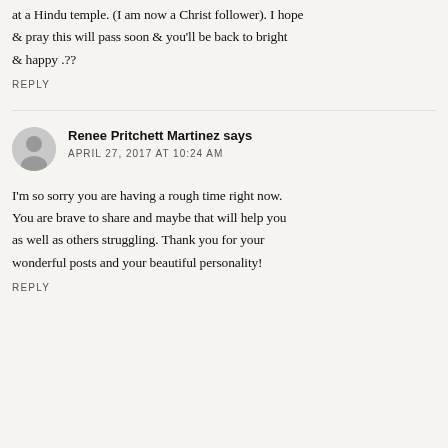at a Hindu temple. (I am now a Christ follower). I hope & pray this will pass soon & you'll be back to bright & happy .??
REPLY
Renee Pritchett Martinez says
APRIL 27, 2017 AT 10:24 AM
I'm so sorry you are having a rough time right now. You are brave to share and maybe that will help you as well as others struggling. Thank you for your wonderful posts and your beautiful personality!
REPLY